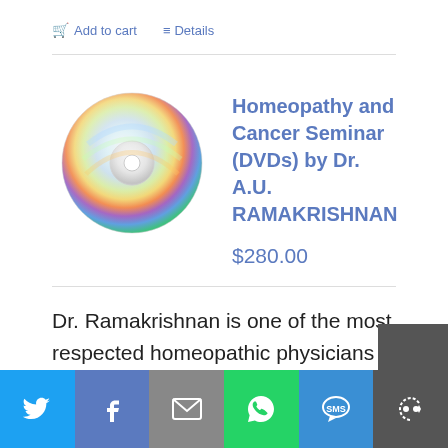Add to cart
Details
[Figure (photo): A shiny holographic CD/DVD disc]
Homeopathy and Cancer Seminar (DVDs) by Dr. A.U. RAMAKRISHNAN
$280.00
Dr. Ramakrishnan is one of the most respected homeopathic physicians in the world, and he is specially known